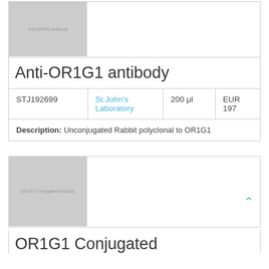[Figure (photo): Placeholder image for Anti-OR1G1 antibody product, gray rectangle with text 'Anti-OR1G1 antibody']
Anti-OR1G1 antibody
| Catalog | Supplier | Volume | Price |
| --- | --- | --- | --- |
| STJ192699 | St John's Laboratory | 200 μl | EUR 197 |
Description: Unconjugated Rabbit polyclonal to OR1G1
[Figure (photo): Placeholder image for OR1G1 Conjugated Antibody product, gray rectangle with text 'OR1G1 Conjugated Antibody']
OR1G1 Conjugated